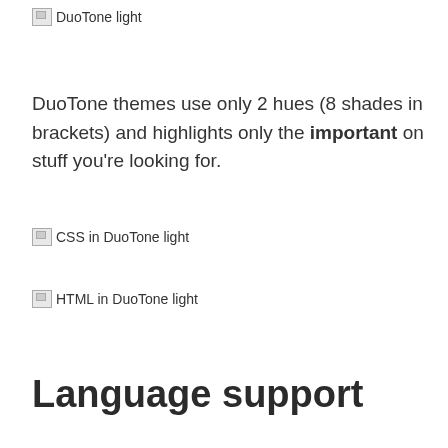[Figure (other): Broken image placeholder labeled 'DuoTone light']
DuoTone themes use only 2 hues (8 shades in brackets) and highlights only the important on stuff you're looking for.
[Figure (other): Broken image placeholder labeled 'CSS in DuoTone light']
[Figure (other): Broken image placeholder labeled 'HTML in DuoTone light']
Language support
DuoTone themes are optimized for many langu...
C, Clojure, CoffeeScript, C#, CSS, GF Mark... Python, Ruby, SASS, SCSS, Stylus, XML, Y...
See the list of all languages.